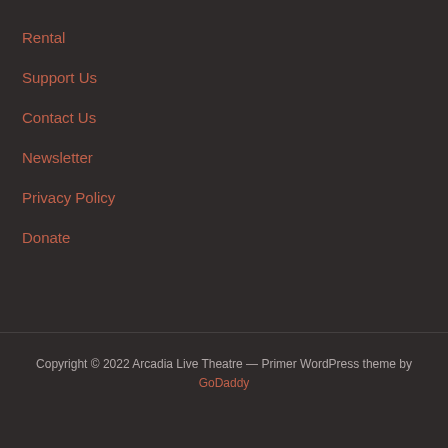Rental
Support Us
Contact Us
Newsletter
Privacy Policy
Donate
Copyright © 2022 Arcadia Live Theatre — Primer WordPress theme by GoDaddy